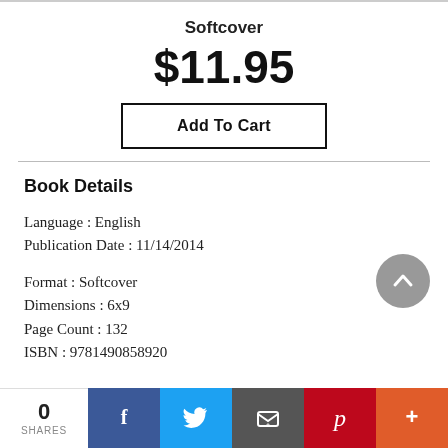Softcover
$11.95
Add To Cart
Book Details
Language : English
Publication Date : 11/14/2014
Format : Softcover
Dimensions : 6x9
Page Count : 132
ISBN : 9781490858920
0 SHARES | Facebook | Twitter | Email | Pinterest | More